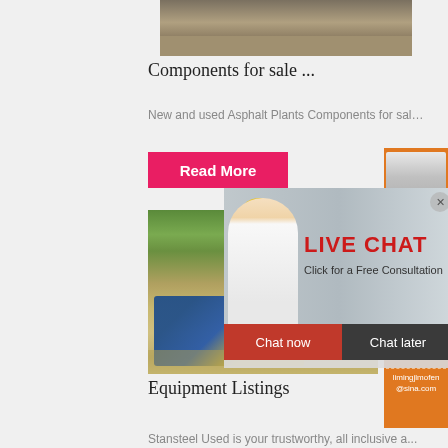[Figure (photo): Top partial image of construction/asphalt material]
Components for sale ...
New and used Asphalt Plants Components for sal…
[Figure (photo): Live Chat popup overlay with workers in hard hats, Chat now and Chat later buttons]
[Figure (photo): Construction equipment/machinery image with excavator]
Equipment Listings
Stansteel Used is your trustworthy, all inclusive a...
[Figure (infographic): Right side orange panel with machinery images, Enjoy 3% discount bar, Click to Chat bar, Enquiry button, and email limingjlmofen@sina.com]